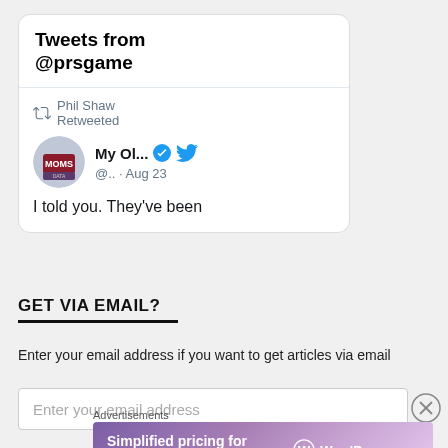[Figure (screenshot): Twitter widget showing 'Tweets from @prsgame' with a retweet by Phil Shaw from 'My Ol...' account with verified badge, dated Aug 23, showing text 'I told you. They've been']
GET VIA EMAIL?
Enter your email address if you want to get articles via email
[Figure (screenshot): Email input field with placeholder text 'Enter your email address']
[Figure (infographic): WordPress.com advertisement banner: 'Simplified pricing for everything you need.' with WordPress.com logo]